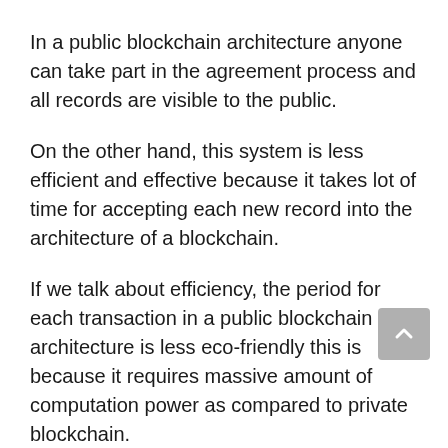In a public blockchain architecture anyone can take part in the agreement process and all records are visible to the public.
On the other hand, this system is less efficient and effective because it takes lot of time for accepting each new record into the architecture of a blockchain.
If we talk about efficiency, the period for each transaction in a public blockchain architecture is less eco-friendly this is because it requires massive amount of computation power as compared to private blockchain.
Major Blockchain Platforms